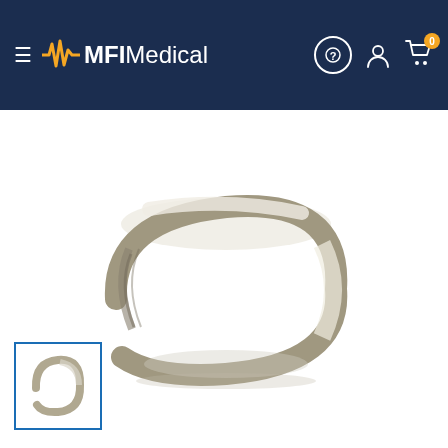[Figure (screenshot): MFI Medical website header with hamburger menu, MFI Medical logo, help icon, user icon, and shopping cart icon with badge showing 0]
[Figure (screenshot): Search bar with placeholder text 'Search...' and scan icon and orange search button]
[Figure (photo): Close-up photo of a silver/chrome metal ring or retaining ring, shown from a slightly elevated angle]
[Figure (photo): Small thumbnail image of the same silver ring, shown in a blue-bordered thumbnail selector box]